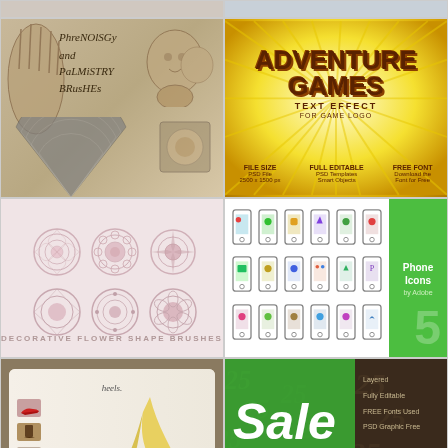[Figure (illustration): Partial top strip showing cropped thumbnails on both sides]
[Figure (illustration): Phrenology and Palmistry Brushes - vintage illustration with hand, phrenology head, decorative fan and anatomical figures on aged paper background]
[Figure (illustration): Adventure Games text effect for game logo - bold 3D brown text on yellow sunburst background with features listed at bottom]
[Figure (illustration): Decorative Flower Shape Brushes - six circular mandala/rosette brush shapes arranged in 2x3 grid on pinkish background]
[Figure (illustration): Phone Icons set - grid of smartphone icon illustrations with colorful app icons, with green panel on right showing product label]
[Figure (illustration): Heels - shoe product website/app showcase on tablet frame showing yellow high heel shoes with small shoe thumbnails]
[Figure (illustration): Sale UP TO 25% OFF Black Friday - green and dark brown promotional banner with cursive Sale text and feature list]